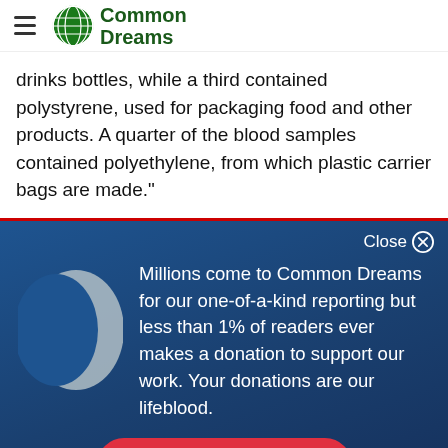Common Dreams
drinks bottles, while a third contained polystyrene, used for packaging food and other products. A quarter of the blood samples contained polyethylene, from which plastic carrier bags are made."
Close
[Figure (logo): Globe icon illustration in light gray showing world map silhouette]
Millions come to Common Dreams for our one-of-a-kind reporting but less than 1% of readers ever makes a donation to support our work. Your donations are our lifeblood.
DONATE NOW